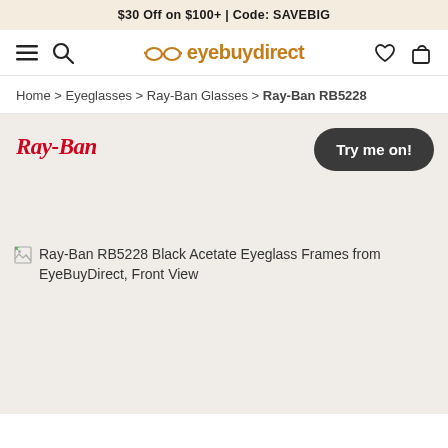$30 Off on $100+ | Code: SAVEBIG
[Figure (screenshot): EyeBuyDirect website navigation bar with hamburger menu, search icon, EyeBuyDirect logo with glasses icon, heart icon, and shopping bag icon]
Home > Eyeglasses > Ray-Ban Glasses > Ray-Ban RB5228
[Figure (logo): Ray-Ban cursive red logo]
[Figure (other): Try me on! button (dark rounded rectangle)]
[Figure (photo): Broken image placeholder for Ray-Ban RB5228 Black Acetate Eyeglass Frames from EyeBuyDirect, Front View]